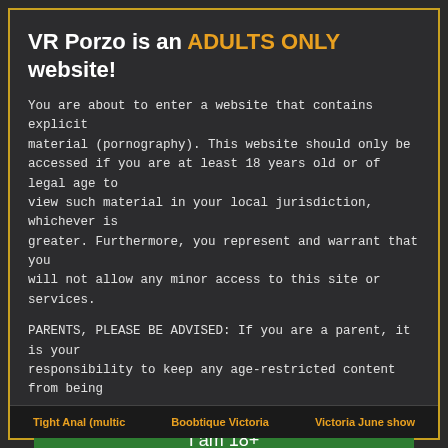VR Porzo is an ADULTS ONLY website!
You are about to enter a website that contains explicit material (pornography). This website should only be accessed if you are at least 18 years old or of legal age to view such material in your local jurisdiction, whichever is greater. Furthermore, you represent and warrant that you will not allow any minor access to this site or services.
PARENTS, PLEASE BE ADVISED: If you are a parent, it is your responsibility to keep any age-restricted content from being
I am 18+
ENTER
When accessing this site you agree to our terms of use.
Tight Anal (multic   Boobtique Victoria   Victoria June show